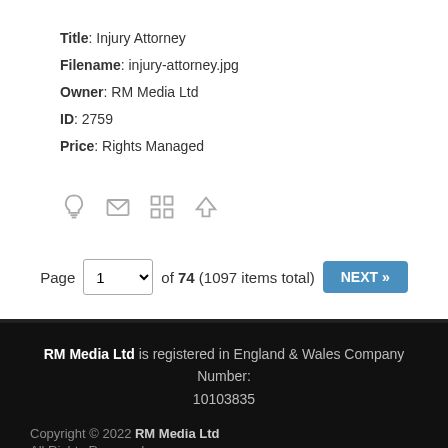Title: Injury Attorney
Filename: injury-attorney.jpg
Owner: RM Media Ltd
ID: 2759
Price: Rights Managed
[Figure (other): Row of icons: lightbulb, envelope, grid, download arrow]
Page 1 of 74 (1097 items total) NEXT »
RM Media Ltd is registered in England & Wales Company Number: 10103835
Copyright © 2022 RM Media Ltd
All Rights Reserved.
Contact Us
About Us